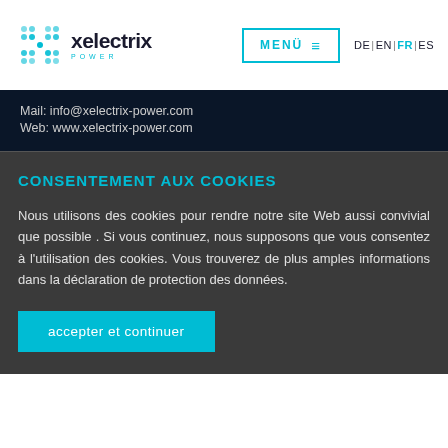[Figure (logo): Xelectrix Power logo: blue X icon on left, company name 'xelectrix' in dark with 'POWER' subtitle in cyan]
MENÜ  DE | EN | FR | ES
Mail: info@xelectrix-power.com
Web: www.xelectrix-power.com
CONSENTEMENT AUX COOKIES
Nous utilisons des cookies pour rendre notre site Web aussi convivial que possible . Si vous continuez, nous supposons que vous consentez à l'utilisation des cookies. Vous trouverez de plus amples informations dans la déclaration de protection des données.
accepter et continuer